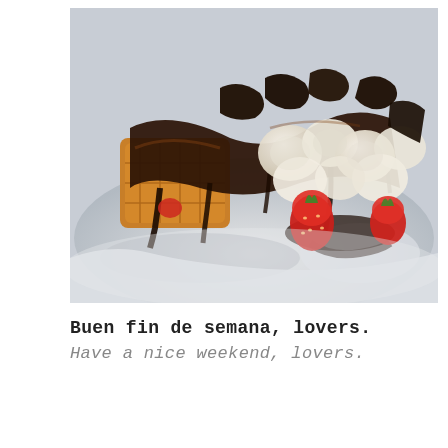[Figure (photo): A plate of dessert food items — waffles or toast pieces, banana slices, strawberries, and marshmallows all drizzled with dark chocolate sauce, served on a white plate, photographed outdoors in bright sunlight.]
Buen fin de semana, lovers.
Have a nice weekend, lovers.